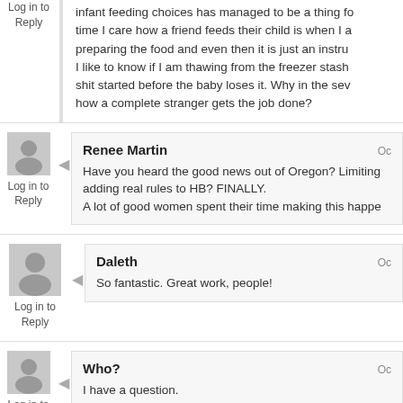infant feeding choices has managed to be a thing for... time I care how a friend feeds their child is when I am preparing the food and even then it is just an instruc... I like to know if I am thawing from the freezer stash... shit started before the baby loses it. Why in the seve... how a complete stranger gets the job done?
Renee Martin
Have you heard the good news out of Oregon? Limiting adding real rules to HB? FINALLY.
A lot of good women spent their time making this happen
Daleth
So fantastic. Great work, people!
Who?
I have a question.